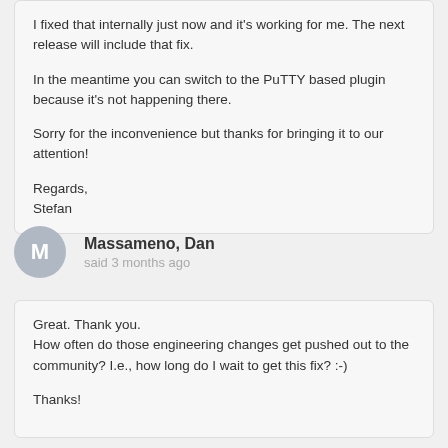I fixed that internally just now and it's working for me. The next release will include that fix.

In the meantime you can switch to the PuTTY based plugin because it's not happening there.

Sorry for the inconvenience but thanks for bringing it to our attention!

Regards,
Stefan
Massameno, Dan
said 3 months ago
Great.  Thank you.
How often do those engineering changes get pushed out to the community?  I.e., how long do I wait to get this fix?  :-)

Thanks!